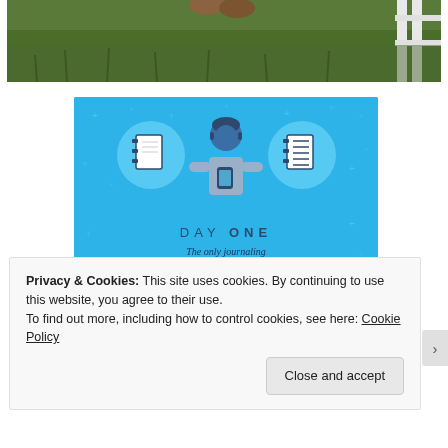[Figure (photo): Partial view of a person standing on grass lawn near a white fence, showing only their feet/shoes at the top of the frame.]
[Figure (illustration): Day One journaling app advertisement on a blue background. Shows three circular icons (blank notebook, person using phone, notebook with lines), the text 'DAY ONE' and tagline 'The only journaling app you'll ever need.' with a 'Get the app' button.]
Privacy & Cookies: This site uses cookies. By continuing to use this website, you agree to their use.
To find out more, including how to control cookies, see here: Cookie Policy
Close and accept